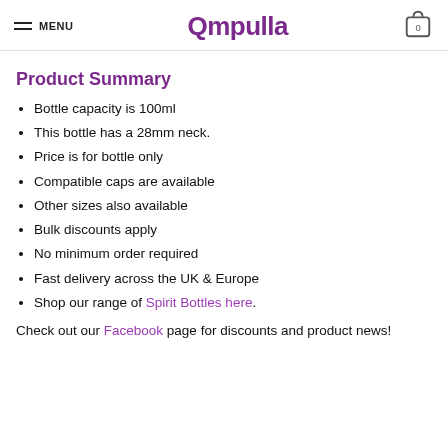MENU | Ampulla | 0
Product Summary
Bottle capacity is 100ml
This bottle has a 28mm neck.
Price is for bottle only
Compatible caps are available
Other sizes also available
Bulk discounts apply
No minimum order required
Fast delivery across the UK & Europe
Shop our range of Spirit Bottles here.
Check out our Facebook page for discounts and product news!